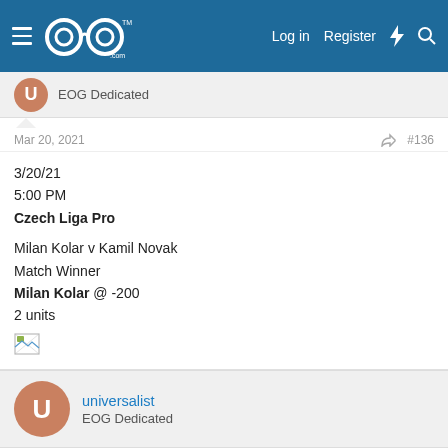EOG (GoOdds.com) — Log in  Register
EOG Dedicated
Mar 20, 2021  #136
3/20/21
5:00 PM
Czech Liga Pro

Milan Kolar v Kamil Novak
Match Winner
Milan Kolar @ -200
2 units
universalist
EOG Dedicated
Mar 21, 2021  #137
3/21/21